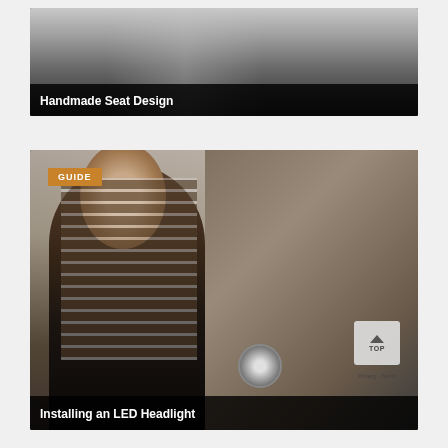[Figure (screenshot): Video thumbnail showing workshop scene with table and people, titled 'Handmade Seat Design' on a black bar at the bottom]
Handmade Seat Design
[Figure (screenshot): Video guide thumbnail showing bearded man in workshop holding LED headlight, with 'GUIDE' badge and tools on wall background, titled 'Installing an LED Headlight']
Installing an LED Headlight